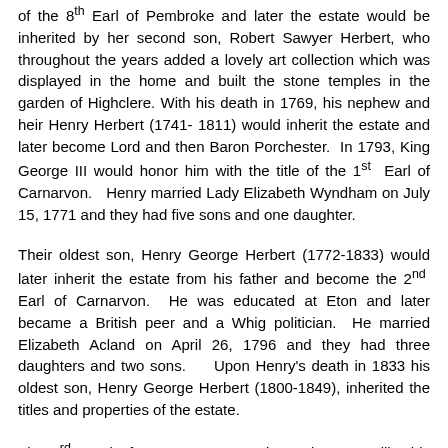of the 8th Earl of Pembroke and later the estate would be inherited by her second son, Robert Sawyer Herbert, who throughout the years added a lovely art collection which was displayed in the home and built the stone temples in the garden of Highclere. With his death in 1769, his nephew and heir Henry Herbert (1741-1811) would inherit the estate and later become Lord and then Baron Porchester. In 1793, King George III would honor him with the title of the 1st Earl of Carnarvon. Henry married Lady Elizabeth Wyndham on July 15, 1771 and they had five sons and one daughter.
Their oldest son, Henry George Herbert (1772-1833) would later inherit the estate from his father and become the 2nd Earl of Carnarvon. He was educated at Eton and later became a British peer and a Whig politician. He married Elizabeth Acland on April 26, 1796 and they had three daughters and two sons. Upon Henry's death in 1833 his oldest son, Henry George Herbert (1800-1849), inherited the titles and properties of the estate.
The 3rd Earl of Carnarvon was educated at Eton like his father and also Christ Church in Oxford. He later became a British peer, a Whig politician and also a very good cricket player. In 1830 the...